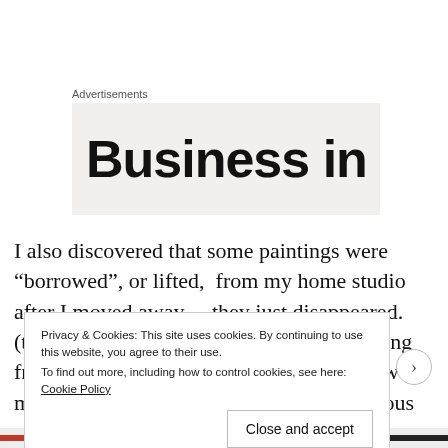Advertisements
Business in
I also discovered that some paintings were “borrowed”, or lifted,  from my home studio after I moved away… they just disappeared. (there were various people coming and going from that locale. I still am not sure just how much was taken. I keep remembering various pieces,
Privacy & Cookies: This site uses cookies. By continuing to use this website, you agree to their use.
To find out more, including how to control cookies, see here: Cookie Policy
Close and accept